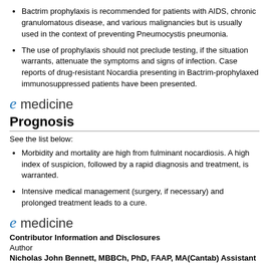Bactrim prophylaxis is recommended for patients with AIDS, chronic granulomatous disease, and various malignancies but is usually used in the context of preventing Pneumocystis pneumonia.
The use of prophylaxis should not preclude testing, if the situation warrants, attenuate the symptoms and signs of infection. Case reports of drug-resistant Nocardia presenting in Bactrim-prophylaxed immunosuppressed patients have been presented.
[Figure (logo): eMedicine logo with stylized italic blue 'e' followed by 'medicine' in dark text]
Prognosis
See the list below:
Morbidity and mortality are high from fulminant nocardiosis. A high index of suspicion, followed by a rapid diagnosis and treatment, is warranted.
Intensive medical management (surgery, if necessary) and prolonged treatment leads to a cure.
[Figure (logo): eMedicine logo with stylized italic blue 'e' followed by 'medicine' in dark text]
Contributor Information and Disclosures
Author
Nicholas John Bennett, MBBCh, PhD, FAAP, MA(Cantab) Assistant